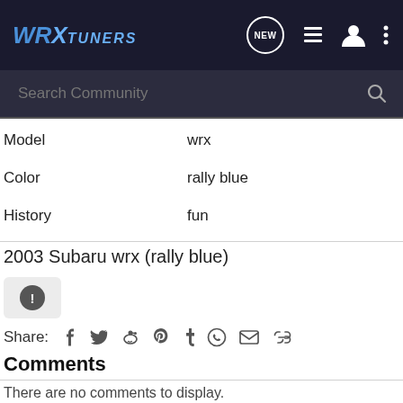[Figure (screenshot): WRX Tuners website header navigation bar with logo, NEW chat bubble icon, list icon, user icon, and three-dot menu icon]
[Figure (screenshot): Search Community input bar with magnifying glass icon]
| Model | wrx |
| Color | rally blue |
| History | fun |
2003 Subaru wrx (rally blue)
Share: [social icons: Facebook, Twitter, Reddit, Pinterest, Tumblr, WhatsApp, Email, Link]
Comments
There are no comments to display.